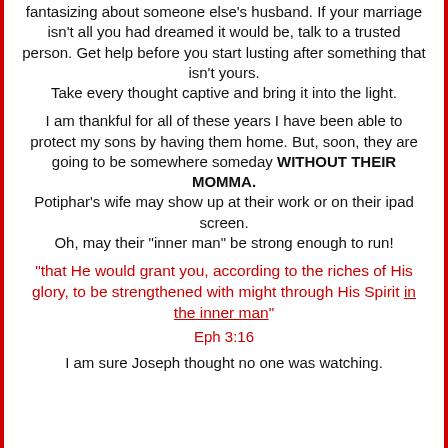fantasizing about someone else's husband. If your marriage isn't all you had dreamed it would be, talk to a trusted person. Get help before you start lusting after something that isn't yours. Take every thought captive and bring it into the light.
I am thankful for all of these years I have been able to protect my sons by having them home. But, soon, they are going to be somewhere someday WITHOUT THEIR MOMMA. Potiphar's wife may show up at their work or on their ipad screen. Oh, may their "inner man" be strong enough to run!
"that He would grant you, according to the riches of His glory, to be strengthened with might through His Spirit in the inner man"
Eph 3:16
I am sure Joseph thought no one was watching.